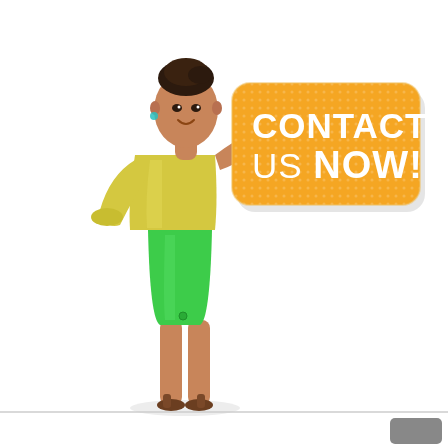[Figure (illustration): A smiling woman wearing a yellow top and bright green pencil skirt with strappy heels, standing and leaning her arm on an orange rounded-rectangle badge that reads 'CONTACT US NOW!' in white text. The background is white.]